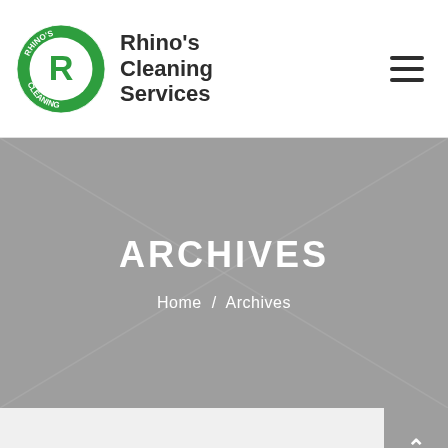[Figure (logo): Rhino's Cleaning Services logo: green circular badge with white rhino and letter R, with text RHINO'S CLEANING around the border, next to bold text 'Rhino's Cleaning Services']
ARCHIVES
Home / Archives